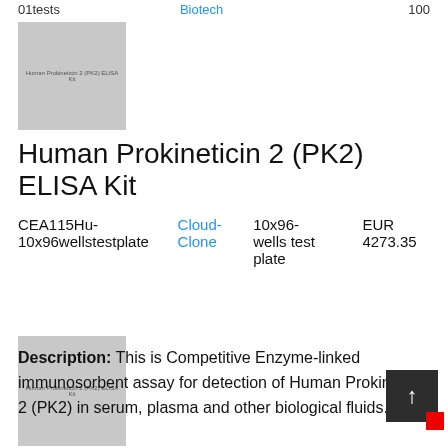01tests   Biotech   100
[Figure (photo): Product image placeholder for Human Prokineticin 2 (PK2) ELISA Kit, top]
Human Prokineticin 2 (PK2) ELISA Kit
| SKU | Brand | Size | Price |
| --- | --- | --- | --- |
| CEA115Hu-10x96wellstestplate | Cloud-Clone | 10x96-wells test plate | EUR 4273.35 |
Description: This is Competitive Enzyme-linked immunosorbent assay for detection of Human Prokineticin 2 (PK2) in serum, plasma and other biological fluids.
[Figure (photo): Product image placeholder for Human Prokineticin 2 (PK2) ELISA Kit, bottom]